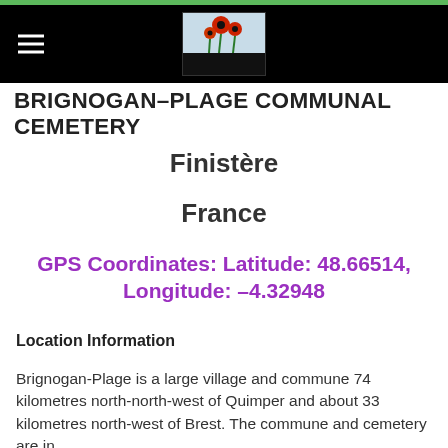BRIGNOGAN-PLAGE COMMUNAL CEMETERY
Finistère
France
GPS Coordinates: Latitude: 48.66514, Longitude: -4.32948
Location Information
Brignogan-Plage is a large village and commune 74 kilometres north-north-west of Quimper and about 33 kilometres north-west of Brest. The commune and cemetery are in...